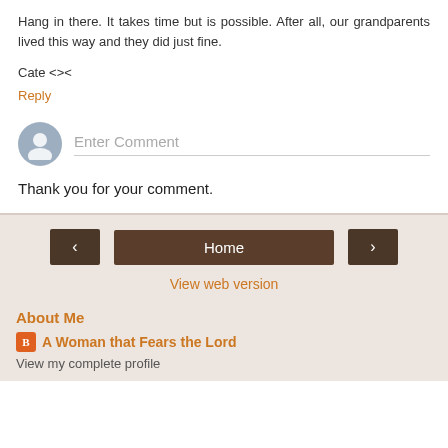Hang in there. It takes time but is possible. After all, our grandparents lived this way and they did just fine.
Cate <><
Reply
[Figure (other): Comment input area with user avatar icon and Enter Comment placeholder text]
Thank you for your comment.
< Home > View web version
About Me
A Woman that Fears the Lord
View my complete profile